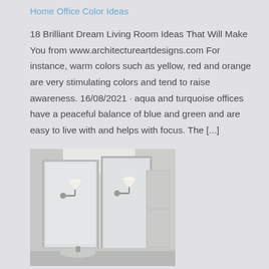Home Office Color Ideas
18 Brilliant Dream Living Room Ideas That Will Make You from www.architectureartdesigns.com For instance, warm colors such as yellow, red and orange are very stimulating colors and tend to raise awareness. 16/08/2021 · aqua and turquoise offices have a peaceful balance of blue and green and are easy to live with and helps with focus. The [...]
[Figure (photo): Interior bathroom photo showing framed mirrors and wall sconce light fixtures in a white/neutral toned bathroom setting]